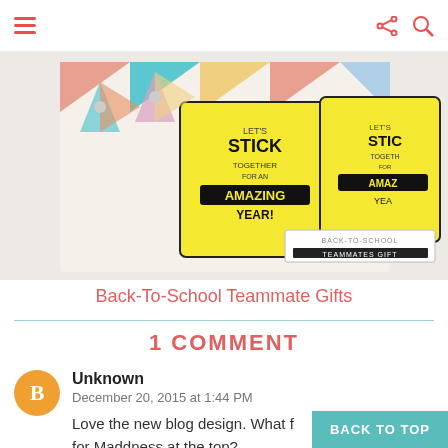Menu | Share | Search
[Figure (photo): Back-to-school teammate gifts photo showing yellow tag-shaped cards reading 'Let's Stick Together for an Amazing Year!' with patterned paper pinwheels and label 'Back-To-School Teammates Gift']
Back-To-School Teammate Gifts
1 COMMENT
Unknown
December 20, 2015 at 1:44 PM
Love the new blog design. What f... for Maddness at the top?